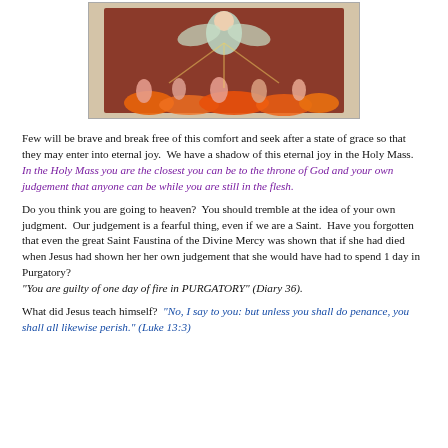[Figure (illustration): Religious illustration depicting souls in purgatory with flames and an angelic figure above]
Few will be brave and break free of this comfort and seek after a state of grace so that they may enter into eternal joy.  We have a shadow of this eternal joy in the Holy Mass.  In the Holy Mass you are the closest you can be to the throne of God and your own judgement that anyone can be while you are still in the flesh.
Do you think you are going to heaven?  You should tremble at the idea of your own  judgment.  Our judgement is a fearful thing, even if we are a Saint.  Have you forgotten that even the great Saint Faustina of the Divine Mercy was shown that if she had died when Jesus had shown her her own judgement that she would have had to spend 1 day in Purgatory?
"You are guilty of one day of fire in PURGATORY" (Diary 36).
What did Jesus teach himself?  "No, I say to you: but unless you shall do penance, you shall all likewise perish." (Luke 13:3)